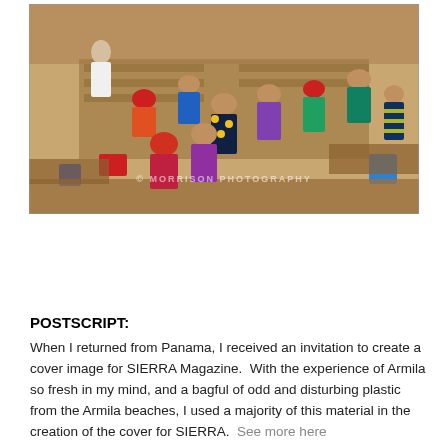[Figure (photo): Group of colorfully dressed indigenous women and children in a classroom or community hall setting, engaged in an activity at tables. A woman in white stands on the left. People wear vibrant patterned clothing and headscarves. A watermark reads 'MORRISON PHOTOGRAPHY'.]
POSTSCRIPT:
When I returned from Panama, I received an invitation to create a cover image for SIERRA Magazine.  With the experience of Armila so fresh in my mind, and a bagful of odd and disturbing plastic from the Armila beaches, I used a majority of this material in the creation of the cover for SIERRA.  See more here